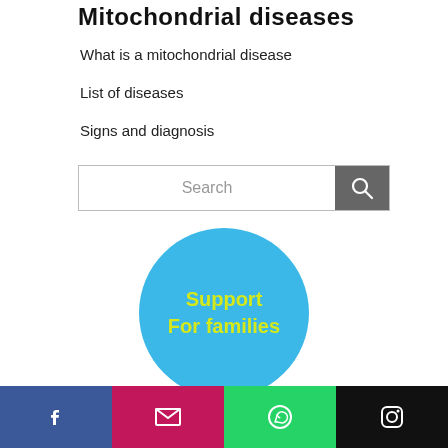Mitochondrial diseases
What is a mitochondrial disease
List of diseases
Signs and diagnosis
[Figure (other): Search bar with text 'Search' and a grey search button with magnifier icon]
[Figure (infographic): Blue circle button with yellow bold text: 'Support For families']
© 2006-2021 All rights reserved to Ori Fund
Design & Development by  DAILY SOMETHING
[Figure (other): Social media bar with four colored buttons: Facebook (blue), Email (pink/magenta), WhatsApp (green), Instagram (black)]